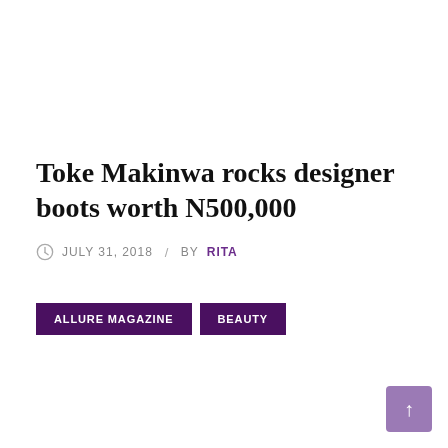Toke Makinwa rocks designer boots worth N500,000
JULY 31, 2018 / BY RITA
ALLURE MAGAZINE
BEAUTY